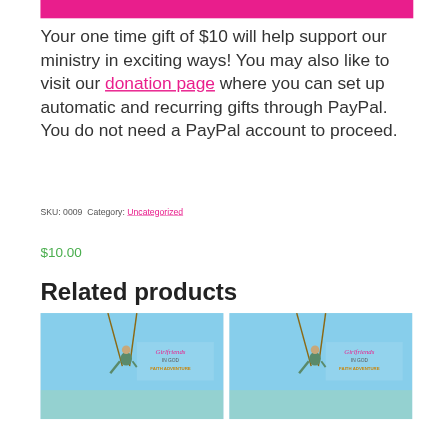[Figure (other): Pink/magenta horizontal banner bar at top of page]
Your one time gift of $10 will help support our ministry in exciting ways! You may also like to visit our donation page where you can set up automatic and recurring gifts through PayPal. You do not need a PayPal account to proceed.
SKU: 0009  Category: Uncategorized
$10.00
Related products
[Figure (photo): Two product images side by side showing 'Girlfriends in God Faith Adventure' with a child on a swing against a blue sky background]